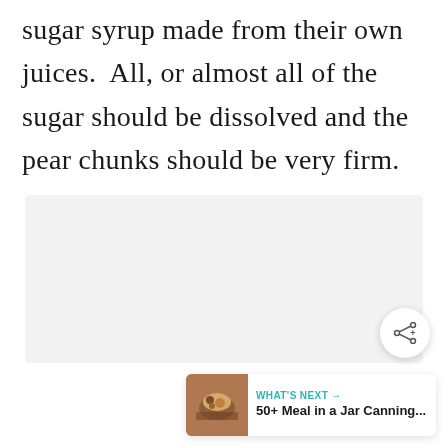sugar syrup made from their own juices.  All, or almost all of the sugar should be dissolved and the pear chunks should be very firm.
[Figure (other): Advertisement placeholder area with three gray dots indicating loading or ad slot]
[Figure (other): Share button: circular white button with share icon (arrow branching into three dots)]
[Figure (other): What's Next card showing a food image thumbnail and text '50+ Meal in a Jar Canning...']